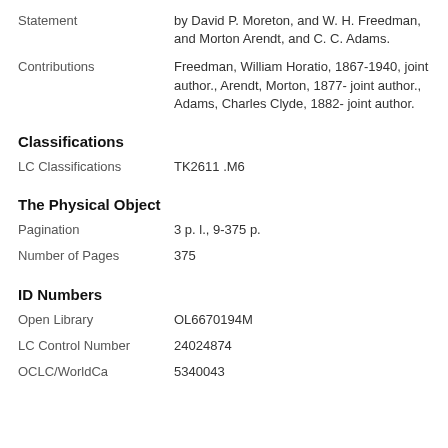Statement | by David P. Moreton, and W. H. Freedman, and Morton Arendt, and C. C. Adams.
Contributions | Freedman, William Horatio, 1867-1940, joint author., Arendt, Morton, 1877- joint author., Adams, Charles Clyde, 1882- joint author.
Classifications
LC Classifications | TK2611 .M6
The Physical Object
Pagination | 3 p. l., 9-375 p.
Number of Pages | 375
ID Numbers
Open Library | OL6670194M
LC Control Number | 24024874
OCLC/WorldCa | 5340043